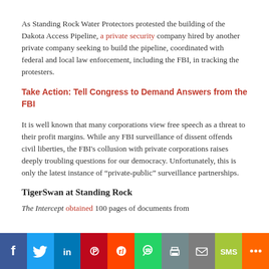As Standing Rock Water Protectors protested the building of the Dakota Access Pipeline, a private security company hired by another private company seeking to build the pipeline, coordinated with federal and local law enforcement, including the FBI, in tracking the protesters.
Take Action: Tell Congress to Demand Answers from the FBI
It is well known that many corporations view free speech as a threat to their profit margins. While any FBI surveillance of dissent offends civil liberties, the FBI's collusion with private corporations raises deeply troubling questions for our democracy. Unfortunately, this is only the latest instance of “private-public” surveillance partnerships.
TigerSwan at Standing Rock
The Intercept obtained 100 pages of documents from
[Figure (infographic): Social media sharing bar with buttons for Facebook, Twitter, LinkedIn, Pinterest, Reddit, WhatsApp, Print, Email, SMS, and More]